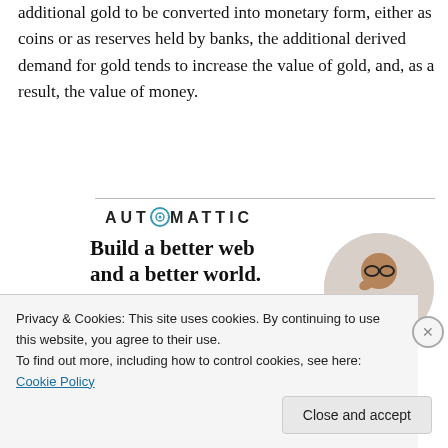additional gold to be converted into monetary form, either as coins or as reserves held by banks, the additional derived demand for gold tends to increase the value of gold, and, as a result, the value of money.
[Figure (logo): Automattic logo with stylized O]
[Figure (infographic): Automattic advertisement: 'Build a better web and a better world.' with Apply button and photo of person]
Privacy & Cookies: This site uses cookies. By continuing to use this website, you agree to their use.
To find out more, including how to control cookies, see here: Cookie Policy
Close and accept